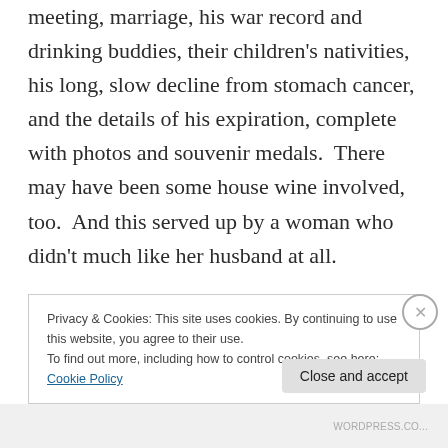meeting, marriage, his war record and drinking buddies, their children's nativities, his long, slow decline from stomach cancer, and the details of his expiration, complete with photos and souvenir medals.  There may have been some house wine involved, too.  And this served up by a woman who didn't much like her husband at all.

Once I was stopped in the training room by one of the social assistants here. She was weeping prodigiously and cradling the framed
Privacy & Cookies: This site uses cookies. By continuing to use this website, you agree to their use.
To find out more, including how to control cookies, see here: Cookie Policy